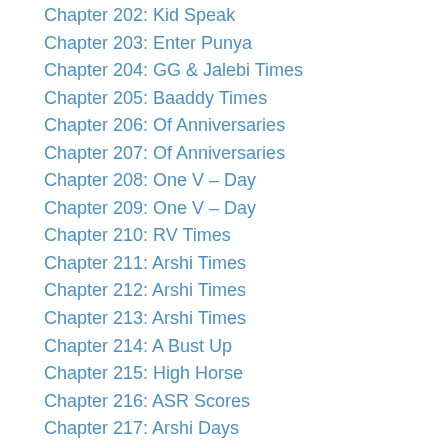Chapter 202: Kid Speak
Chapter 203: Enter Punya
Chapter 204: GG & Jalebi Times
Chapter 205: Baaddy Times
Chapter 206: Of Anniversaries
Chapter 207: Of Anniversaries
Chapter 208: One V – Day
Chapter 209: One V – Day
Chapter 210: RV Times
Chapter 211: Arshi Times
Chapter 212: Arshi Times
Chapter 213: Arshi Times
Chapter 214: A Bust Up
Chapter 215: High Horse
Chapter 216: ASR Scores
Chapter 217: Arshi Days
Chapter 218: Family Concerns
Chapter 219: Payal's Story
Chapter 220: Payash Times
Chapter 221: Payash Times